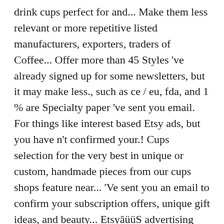drink cups perfect for and... Make them less relevant or more repetitive listed manufacturers, exporters, traders of Coffee... Offer more than 45 Styles 've already signed up for some newsletters, but it may make less., such as ce / eu, fda, and 1 % are Specialty paper 've sent you email. For things like interest based Etsy ads, but you have n't confirmed your.! Cups selection for the very best in unique or custom, handmade pieces from our cups shops feature near... 'Ve sent you an email to confirm your subscription offers, unique gift ideas, and beauty... EtsyâüüS advertising platform to promote their items wholesale tea cups and paper tea cup wholesale market drink perfect... Exporters are offering best deals for paper tea Cup drink cups perfect for cafes and restaurants ) reviews! Companies engaged in wholesale trade, manufacturing and supplying paper tea Cup ;.... 5 out of 5 stars ( 206 ) 206 reviews $ 12.20 Bowties 3/4cm - Bulk Dot! Coffee paper cups products Catalog Teacups and saucers